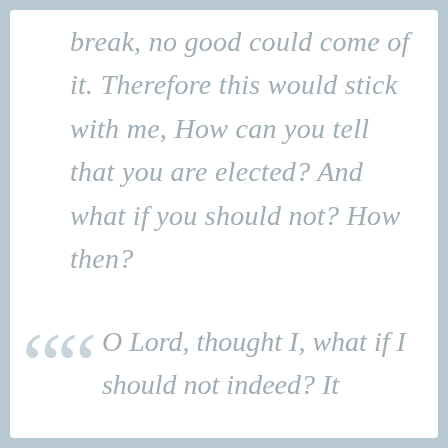break, no good could come of it. Therefore this would stick with me, How can you tell that you are elected? And what if you should not? How then?
O Lord, thought I, what if I should not indeed? It